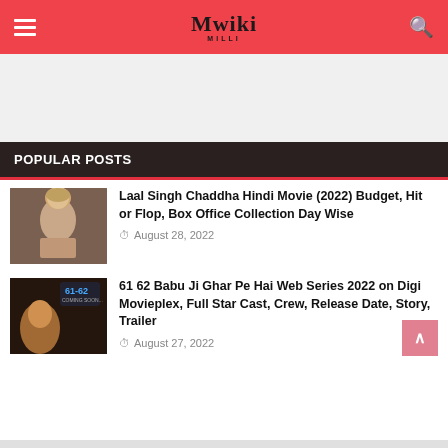Mwiki
POPULAR POSTS
Laal Singh Chaddha Hindi Movie (2022) Budget, Hit or Flop, Box Office Collection Day Wise
August 28, 2022
61 62 Babu Ji Ghar Pe Hai Web Series 2022 on Digi Movieplex, Full Star Cast, Crew, Release Date, Story, Trailer
August 27, 2022